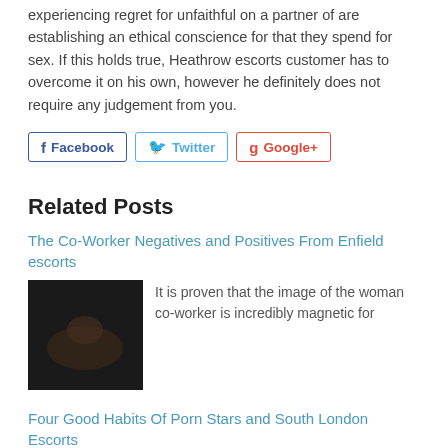experiencing regret for unfaithful on a partner of are establishing an ethical conscience for that they spend for sex. If this holds true, Heathrow escorts customer has to overcome it on his own, however he definitely does not require any judgement from you.
[Figure (other): Social share buttons: Facebook, Twitter, Google+]
Related Posts
The Co-Worker Negatives and Positives From Enfield escorts
[Figure (photo): Dark photo of a woman lying down]
It is proven that the image of the woman co-worker is incredibly magnetic for
Four Good Habits Of Porn Stars and South London Escorts
[Figure (photo): Photo of a blonde woman posing outdoors]
As a man I know for a fact that there is no normal man